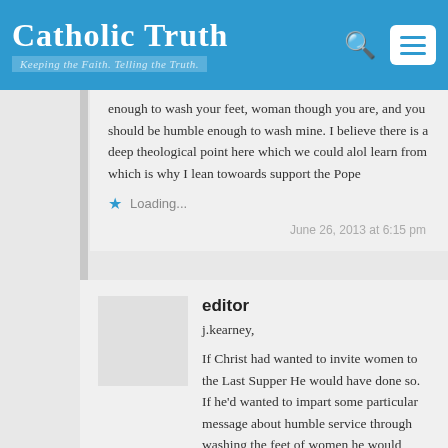Catholic Truth – Keeping the Faith. Telling the Truth.
enough to wash your feet, woman though you are, and you should be humble enough to wash mine. I believe there is a deep theological point here which we could alol learn from which is why I lean towoards support the Pope
Loading...
June 26, 2013 at 6:15 pm
editor
j.kearney,
If Christ had wanted to invite women to the Last Supper He would have done so. If he'd wanted to impart some particular message about humble service through washing the feet of women he would have done so.
Are you unaware of the central importance of the Last